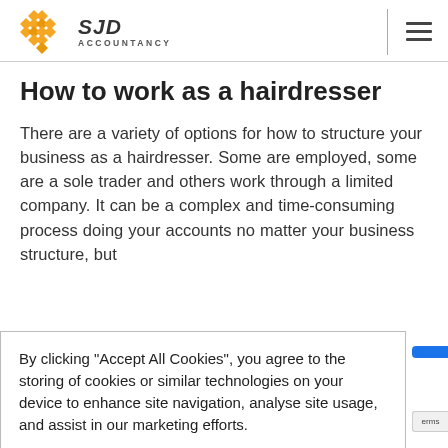SJD ACCOUNTANCY
How to work as a hairdresser
There are a variety of options for how to structure your business as a hairdresser. Some are employed, some are a sole trader and others work through a limited company. It can be a complex and time-consuming process doing your accounts no matter your business structure, but
By clicking "Accept All Cookies", you agree to the storing of cookies or similar technologies on your device to enhance site navigation, analyse site usage, and assist in our marketing efforts.